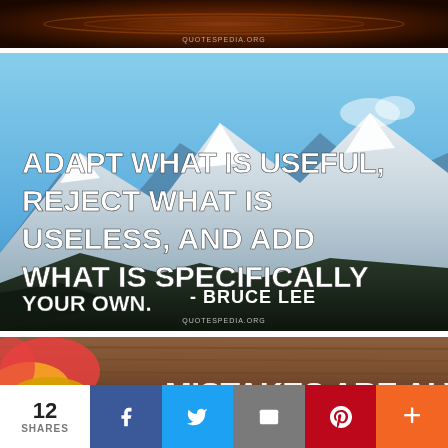[Figure (photo): Top partial image showing a dark swirly/wood texture background with 'Quotespedia.org' watermark]
[Figure (photo): Quote image with snowy mountain and blue sky background. Text reads: ADAPT WHAT IS USEFUL, REJECT WHAT IS USELESS, AND ADD WHAT IS SPECIFICALLY YOUR OWN. - BRUCE LEE. Watermark: Quotespedia.org]
[Figure (photo): Partial bottom image showing a wooden background with autumn leaves and beginning of text 'MISTAKES ARE ALWAYS']
12 SHARES
f (Facebook share button)
Twitter share button
Email share button
Pinterest share button
+ More share button